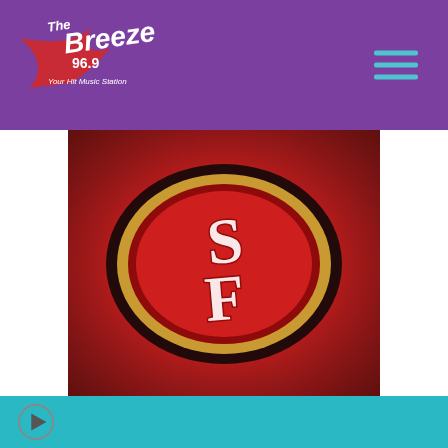The Breeze 96.9 - Your Hit Music Station
[Figure (logo): The Breeze 96.9 Your Hit Music Station radio logo in white text on purple background]
[Figure (photo): San Francisco 49ers logo - SF letters in white on red background with gold oval ring, distressed/grunge style]
Sports Daypop
San Francisco 49ers and QB Jimmy Garoppolo agree to restructured deal
Play button audio player bar